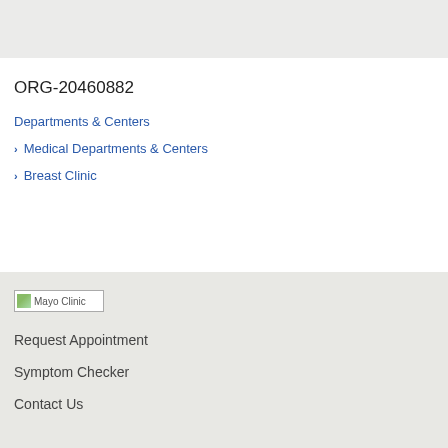[Figure (other): Gray top banner area of a webpage]
ORG-20460882
Departments & Centers
Medical Departments & Centers
Breast Clinic
[Figure (logo): Mayo Clinic logo placeholder image]
Request Appointment
Symptom Checker
Contact Us